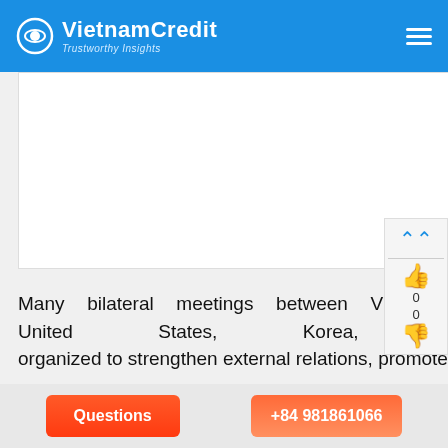VietnamCredit – Trustworthy Insights
[Figure (photo): Image placeholder area (white box)]
Many bilateral meetings between Vietnam representatives of major economies such as Russia, United States, Korea, Canada, Japan and Australia organized to strengthen external relations, promote trade and cooperation agreements.
Australian Trade Minister Steven Ciobo and leaders of leading Australian corporations in the fields of Health, Aviation, Mining, Gas, Steel and Food, who attended the
Questions   +84 981861066